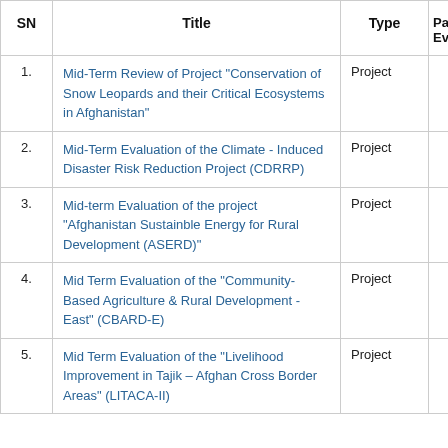| SN | Title | Type | Pa
Ev |
| --- | --- | --- | --- |
| 1. | Mid-Term Review of Project "Conservation of Snow Leopards and their Critical Ecosystems in Afghanistan" | Project |  |
| 2. | Mid-Term Evaluation of the Climate - Induced Disaster Risk Reduction Project (CDRRP) | Project |  |
| 3. | Mid-term Evaluation of the project "Afghanistan Sustainble Energy for Rural Development (ASERD)" | Project |  |
| 4. | Mid Term Evaluation of the "Community-Based Agriculture & Rural Development - East" (CBARD-E) | Project |  |
| 5. | Mid Term Evaluation of the "Livelihood Improvement in Tajik – Afghan Cross Border Areas" (LITACA-II) | Project |  |